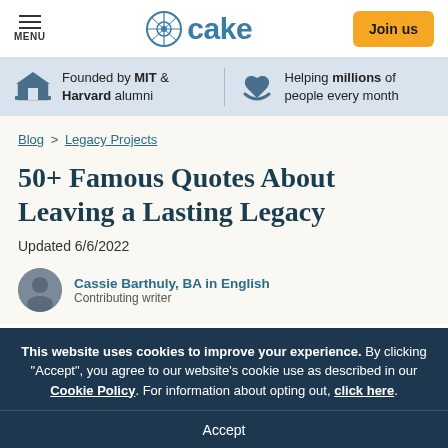MENU | cake | Join us
Founded by MIT & Harvard alumni | Helping millions of people every month
Blog > Legacy Projects
50+ Famous Quotes About Leaving a Lasting Legacy
Updated 6/6/2022
Cassie Barthuly, BA in English
Contributing writer
This website uses cookies to improve your experience. By clicking "Accept", you agree to our website's cookie use as described in our Cookie Policy. For information about opting out, click here.
Accept